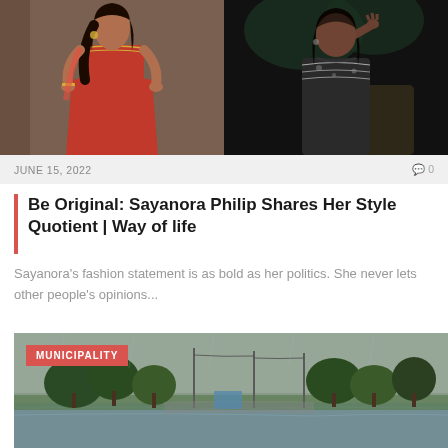[Figure (photo): Two fashion photos side by side: left shows a woman in a red Indian outfit, right shows a woman in a black and white patterned outfit in dark setting]
JUNE 15, 2022
0 0
Be Original: Sayanora Philip Shares Her Style Quotient | Way of life
Sayanora's fashion statement is as bold as her politics. She never lets other people's opinions...
[Figure (photo): Rainy outdoor municipal scene with flooded roads, trees, and utility poles under overcast sky]
MUNICIPALITY